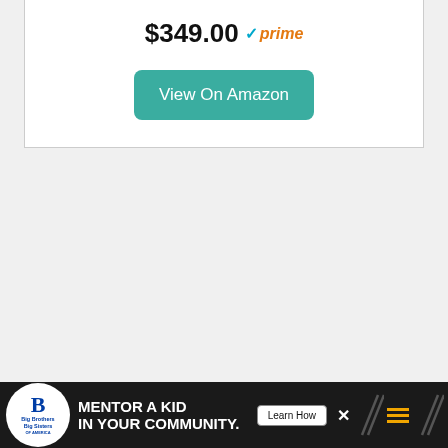$349.00 prime
[Figure (other): View On Amazon button with teal/green rounded rectangle background]
[Figure (other): Advertisement banner: Big Brothers Big Sisters - Mentor a Kid in Your Community. Learn How button.]